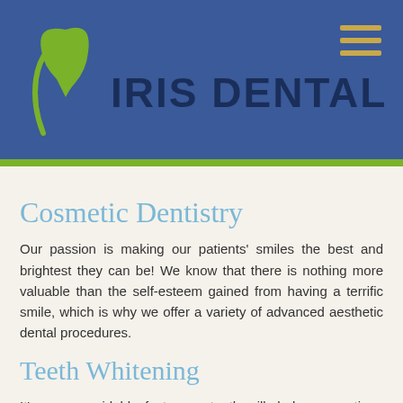[Figure (logo): Iris Dental logo: green tooth shape and blue text 'IRIS DENTAL' on dark blue background header]
Cosmetic Dentistry
Our passion is making our patients' smiles the best and brightest they can be! We know that there is nothing more valuable than the self-esteem gained from having a terrific smile, which is why we offer a variety of advanced aesthetic dental procedures.
Teeth Whitening
It's an unavoidable fact: your teeth will darken over time. Food, drinks, tobacco, improper oral hygiene, even injuries and illness can all cause or contribute to staining. But, achieving a brighter smile has